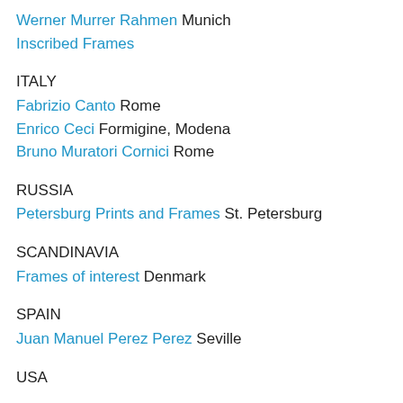Werner Murrer Rahmen Munich
Inscribed Frames
ITALY
Fabrizio Canto Rome
Enrico Ceci Formigine, Modena
Bruno Muratori Cornici Rome
RUSSIA
Petersburg Prints and Frames St. Petersburg
SCANDINAVIA
Frames of interest Denmark
SPAIN
Juan Manuel Perez Perez Seville
USA